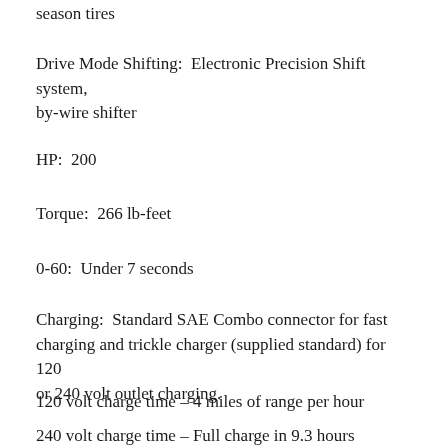season tires
Drive Mode Shifting:  Electronic Precision Shift system, by-wire shifter
HP:  200
Torque:  266 lb-feet
0-60:  Under 7 seconds
Charging:  Standard SAE Combo connector for fast charging and trickle charger (supplied standard) for 120 or 240 volt outlet charging.
120 volt charge time – 4 miles of range per hour
240 volt charge time – Full charge in 9.3 hours